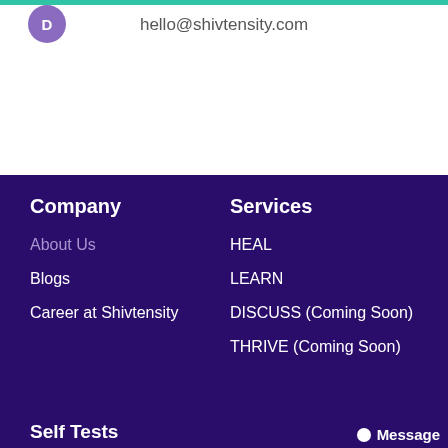hello@shivtensity.com
Company
About Us
Blogs
Career at Shivtensity
Services
HEAL
LEARN
DISCUSS (Coming Soon)
THRIVE (Coming Soon)
Self Tests
Message